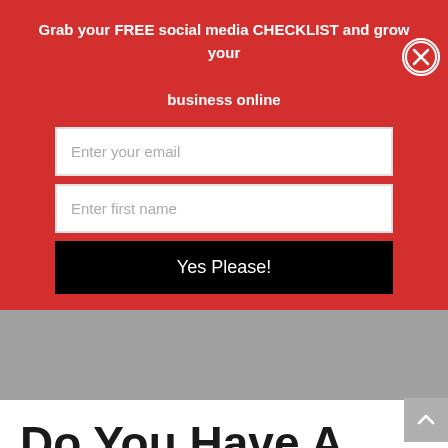Grab your FREE social media CHECKLIST and grow your business online
[Figure (screenshot): Email signup form with two input fields (Enter your email, Enter first name) and a black button labeled Yes Please!, on a red background with a close button]
[Figure (other): Gray banner/image placeholder area]
[Figure (other): Scroll to top button (chevron up arrow) on right side]
Do You Have A Hobby That Could